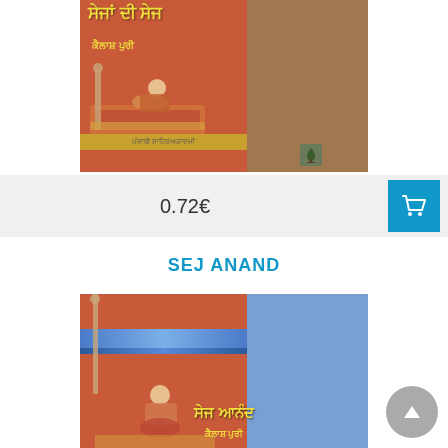[Figure (photo): Book cover of 'Sajan Di Sej' by Kailash Puri showing traditional Indian Mughal painting style artwork, split into left (reddish-orange) and right (brown) halves with Punjabi script title in yellow and author name]
0.72€
[Figure (other): Shopping cart button icon in teal/blue color]
SEJ ANAND
[Figure (photo): Book cover of 'Sej Anand' by Kailash Puri showing traditional Indian Mughal painting style artwork, split into left (reddish-orange) and right (blue) halves with Punjabi script title in yellow]